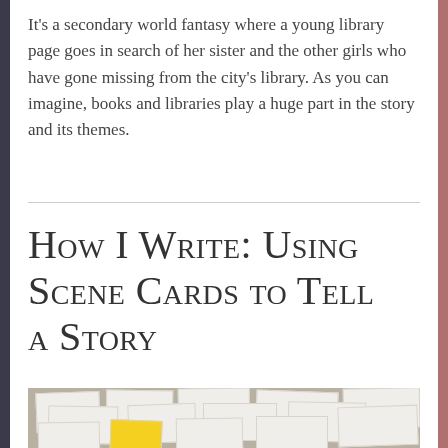It's a secondary world fantasy where a young library page goes in search of her sister and the other girls who have gone missing from the city's library. As you can imagine, books and libraries play a huge part in the story and its themes.
How I Write: Using Scene Cards to Tell a Story
[Figure (photo): Photo of index cards or scene cards laid out on a carpet/surface, with one yellow card among many white cards arranged in a planning layout]